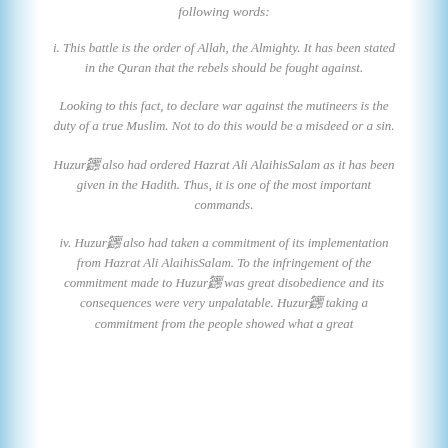following words:
i. This battle is the order of Allah, the Almighty. It has been stated in the Quran that the rebels should be fought against.
Looking to this fact, to declare war against the mutineers is the duty of a true Muslim. Not to do this would be a misdeed or a sin.
Huzurﷺ also had ordered Hazrat Ali AlaihisSalam as it has been given in the Hadith. Thus, it is one of the most important commands.
iv. Huzurﷺ also had taken a commitment of its implementation from Hazrat Ali AlaihisSalam. To the infringement of the commitment made to Huzurﷺ was great disobedience and its consequences were very unpalatable. Huzurﷺ taking a commitment from the people showed what a great